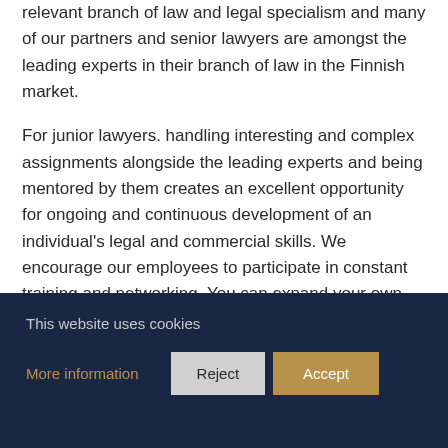relevant branch of law and legal specialism and many of our partners and senior lawyers are amongst the leading experts in their branch of law in the Finnish market.
For junior lawyers. handling interesting and complex assignments alongside the leading experts and being mentored by them creates an excellent opportunity for ongoing and continuous development of an individual's legal and commercial skills. We encourage our employees to participate in constant training and networking. You can expand your own competence by participating in the office marketing, different
This website uses cookies
More information
Reject
Accept